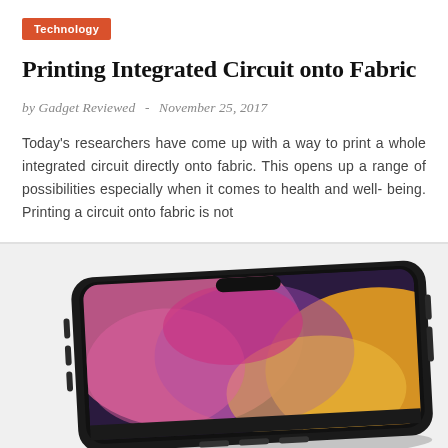Technology
Printing Integrated Circuit onto Fabric
by Gadget Reviewed  -  November 25, 2017
Today's researchers have come up with a way to print a whole integrated circuit directly onto fabric. This opens up a range of possibilities especially when it comes to health and well- being. Printing a circuit onto fabric is not
[Figure (photo): A smartphone (iPhone X-style) laying flat at a slight angle showing a colorful abstract wallpaper with pink, purple, orange and yellow hues on the display. The phone has a dark/black frame with a notch visible.]